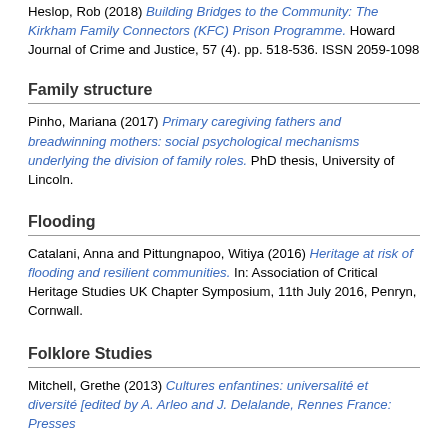Heslop, Rob (2018) Building Bridges to the Community: The Kirkham Family Connectors (KFC) Prison Programme. Howard Journal of Crime and Justice, 57 (4). pp. 518-536. ISSN 2059-1098
Family structure
Pinho, Mariana (2017) Primary caregiving fathers and breadwinning mothers: social psychological mechanisms underlying the division of family roles. PhD thesis, University of Lincoln.
Flooding
Catalani, Anna and Pittungnapoo, Witiya (2016) Heritage at risk of flooding and resilient communities. In: Association of Critical Heritage Studies UK Chapter Symposium, 11th July 2016, Penryn, Cornwall.
Folklore Studies
Mitchell, Grethe (2013) Cultures enfantines: universalité et diversité [edited by A. Arleo and J. Delalande, Rennes France: Presses